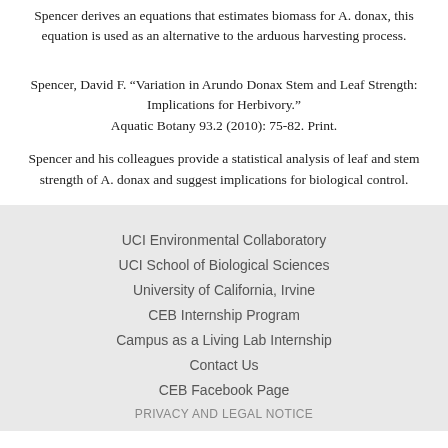Spencer derives an equations that estimates biomass for A. donax, this equation is used as an alternative to the arduous harvesting process.
Spencer, David F. “Variation in Arundo Donax Stem and Leaf Strength: Implications for Herbivory.” Aquatic Botany 93.2 (2010): 75-82. Print.
Spencer and his colleagues provide a statistical analysis of leaf and stem strength of A. donax and suggest implications for biological control.
UCI Environmental Collaboratory
UCI School of Biological Sciences
University of California, Irvine
CEB Internship Program
Campus as a Living Lab Internship
Contact Us
CEB Facebook Page
PRIVACY AND LEGAL NOTICE